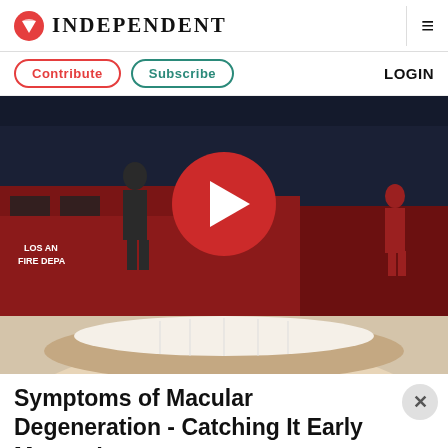INDEPENDENT
Contribute  Subscribe  LOGIN
[Figure (screenshot): Video thumbnail showing nighttime scene with Los Angeles Fire Department vehicles and people, with a large red play button overlay in the center]
[Figure (photo): Close-up of a smiling person's teeth and lips, used as advertisement background]
Symptoms of Macular Degeneration - Catching It Early Matters!
MACULAR DEGENERATION SEARCH ADS